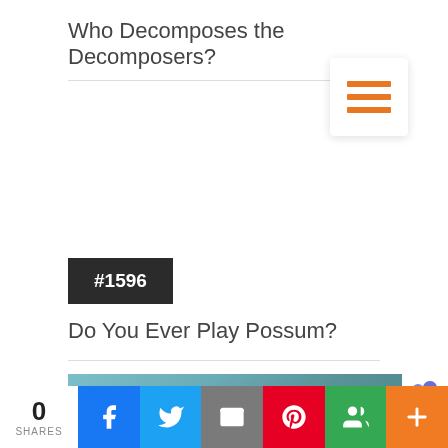Who Decomposes the Decomposers?
[Figure (other): Orange hamburger menu icon (three horizontal orange bars) on white card with shadow]
#1596
Do You Ever Play Possum?
[Figure (photo): Teal/blue-grey textured background thumbnail image]
[Figure (logo): Microsoft Teams logo icon (purple)]
0 SHARES | Facebook | Twitter | Email | Pinterest | Google+ | More